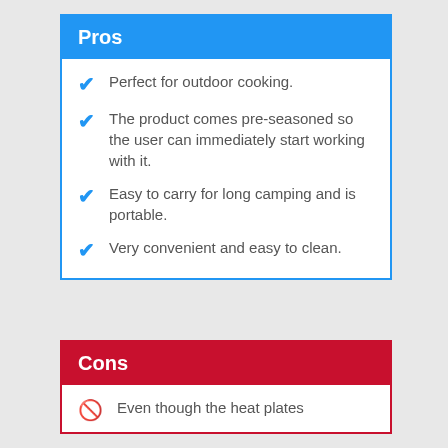Pros
Perfect for outdoor cooking.
The product comes pre-seasoned so the user can immediately start working with it.
Easy to carry for long camping and is portable.
Very convenient and easy to clean.
Cons
Even though the heat plates